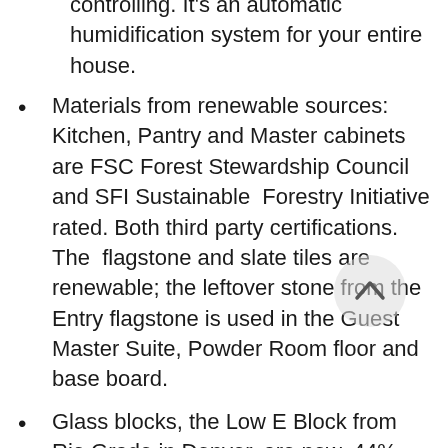controlling. It's an automatic humidification system for your entire house.
Materials from renewable sources: Kitchen, Pantry and Master cabinets are FSC Forest Stewardship Council and SFI Sustainable Forestry Initiative rated. Both third party certifications. The flagstone and slate tiles are renewable; the leftover stone from the Entry flagstone is used in the Guest Master Suite, Powder Room floor and base board.
Glass blocks, the Low E Block from Rio Grade in Denver, are new, 44% more energy-efficient than older styles.